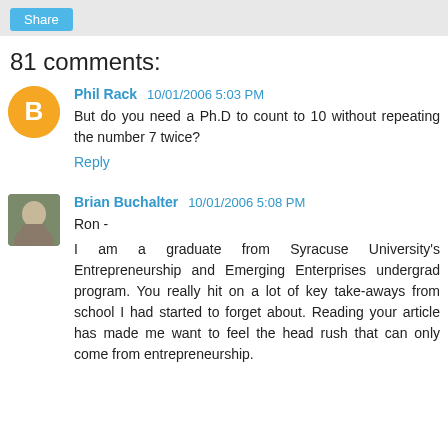Share
81 comments:
Phil Rack 10/01/2006 5:03 PM
But do you need a Ph.D to count to 10 without repeating the number 7 twice?
Reply
Brian Buchalter 10/01/2006 5:08 PM
Ron -

I am a graduate from Syracuse University's Entrepreneurship and Emerging Enterprises undergrad program. You really hit on a lot of key take-aways from school I had started to forget about. Reading your article has made me want to feel the head rush that can only come from entrepreneurship.